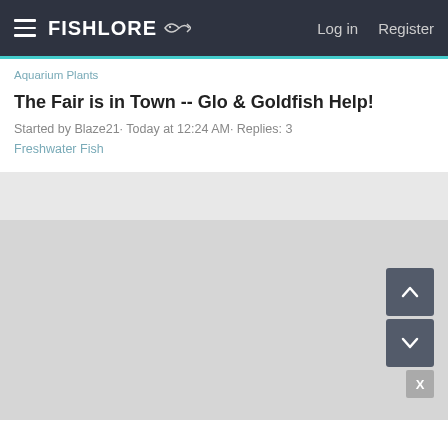FishLore  Log in  Register
Aquarium Plants
The Fair is in Town -- Glo & Goldfish Help!
Started by Blaze21· Today at 12:24 AM· Replies: 3
Freshwater Fish